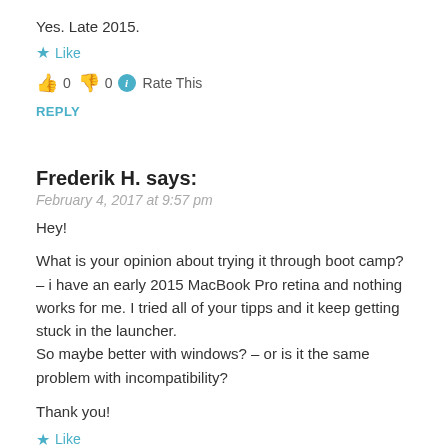Yes. Late 2015.
★ Like
👍 0 👎 0 ℹ Rate This
REPLY
Frederik H. says:
February 4, 2017 at 9:57 pm
Hey!
What is your opinion about trying it through boot camp? – i have an early 2015 MacBook Pro retina and nothing works for me. I tried all of your tipps and it keep getting stuck in the launcher. So maybe better with windows? – or is it the same problem with incompatibility?
Thank you!
★ Like